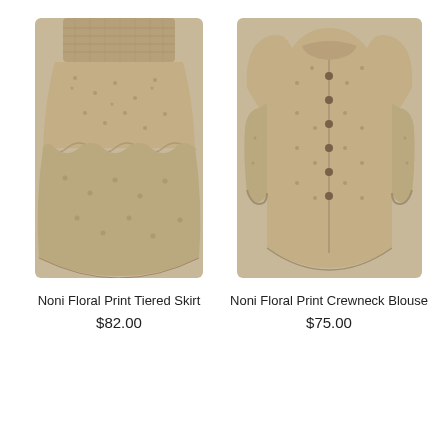[Figure (photo): Photo of a Noni Floral Print Tiered Skirt in a tan/beige floral print fabric with a smocked waistband and tiered ruffle hem]
Noni Floral Print Tiered Skirt
$82.00
[Figure (photo): Photo of a Noni Floral Print Crewneck Blouse in a tan/beige floral print fabric with button front and long sleeves]
Noni Floral Print Crewneck Blouse
$75.00